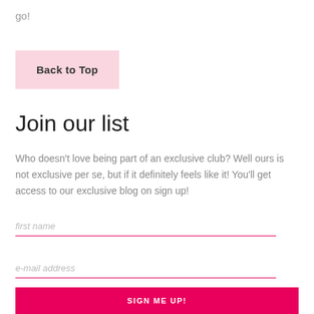go!
Back to Top
Join our list
Who doesn't love being part of an exclusive club? Well ours is not exclusive per se, but if it definitely feels like it! You'll get access to our exclusive blog on sign up!
first name
e-mail address
SIGN ME UP!